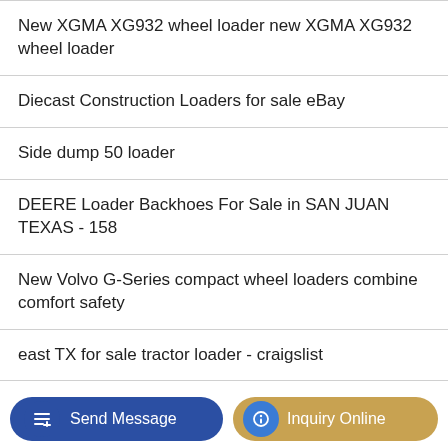New XGMA XG932 wheel loader new XGMA XG932 wheel loader
Diecast Construction Loaders for sale eBay
Side dump 50 loader
DEERE Loader Backhoes For Sale in SAN JUAN TEXAS - 158
New Volvo G-Series compact wheel loaders combine comfort safety
east TX for sale tractor loader - craigslist
Seymour Midwest S500 Industrial 6 cu ft Steel